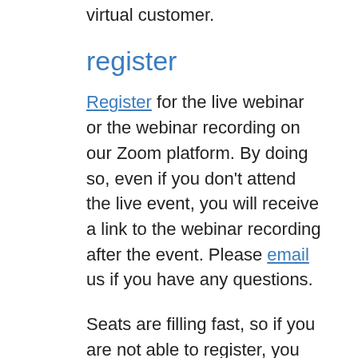virtual customer.
register
Register for the live webinar or the webinar recording on our Zoom platform. By doing so, even if you don’t attend the live event, you will receive a link to the webinar recording after the event. Please email us if you have any questions.
Seats are filling fast, so if you are not able to register, you can still view the webinar recording on our website by April 20th.